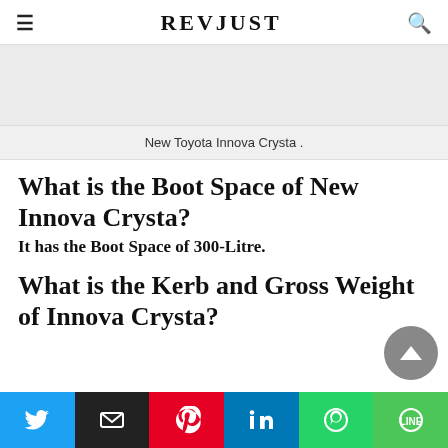REVJUST
[Figure (other): Advertisement banner area (gray placeholder)]
New Toyota Innova Crysta .
What is the Boot Space of New Innova Crysta?
It has the Boot Space of 300-Litre.
What is the Kerb and Gross Weight of Innova Crysta?
[Figure (other): Social share buttons: Twitter, Email, Pinterest, LinkedIn, WhatsApp, LINE]